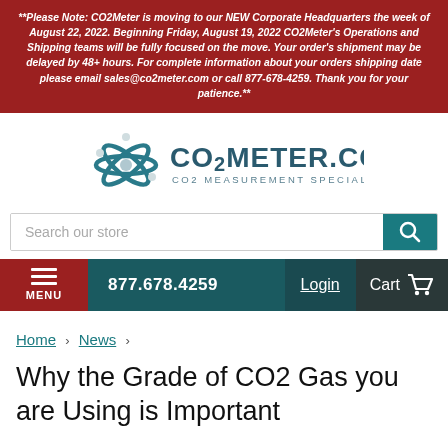**Please Note: CO2Meter is moving to our NEW Corporate Headquarters the week of August 22, 2022. Beginning Friday, August 19, 2022 CO2Meter's Operations and Shipping teams will be fully focused on the move. Your order's shipment may be delayed by 48+ hours. For complete information about your orders shipping date please email sales@co2meter.com or call 877-678-4259. Thank you for your patience.**
[Figure (logo): CO2Meter.com logo with teal orbital sphere icon and text CO2METER.COM, CO2 MEASUREMENT SPECIALISTS]
Search our store
877.678.4259   Login   Cart
Home › News ›
Why the Grade of CO2 Gas you are Using is Important